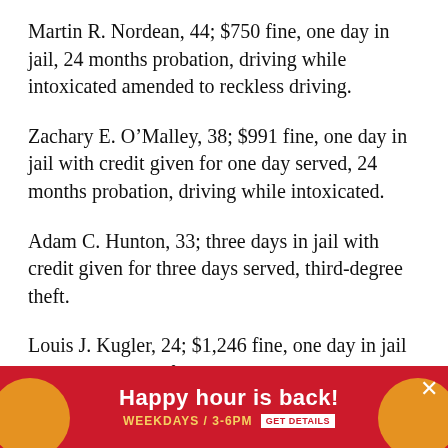Martin R. Nordean, 44; $750 fine, one day in jail, 24 months probation, driving while intoxicated amended to reckless driving.
Zachary E. O’Malley, 38; $991 fine, one day in jail with credit given for one day served, 24 months probation, driving while intoxicated.
Adam C. Hunton, 33; three days in jail with credit given for three days served, third-degree theft.
Louis J. Kugler, 24; $1,246 fine, one day in jail with credit given for one day served, 12 months probation, physical control.
Zachary T. Helfenstein, 20; $698 fine, 12 months probation, driving while intoxicated amended to reckless driving.
[Figure (other): Advertisement banner: Happy hour is back! Weekdays / 3-6PM with GET DETAILS button and decorative orange circles on red background.]